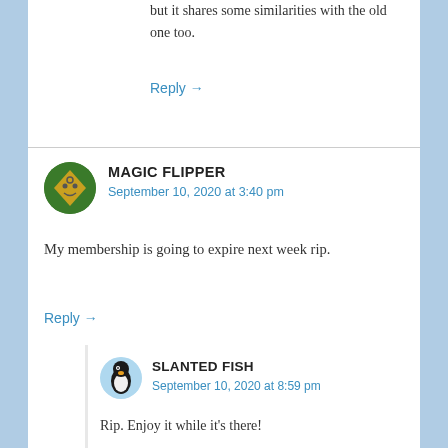but it shares some similarities with the old one too.
Reply →
MAGIC FLIPPER
September 10, 2020 at 3:40 pm
My membership is going to expire next week rip.
Reply →
SLANTED FISH
September 10, 2020 at 8:59 pm
Rip. Enjoy it while it's there!